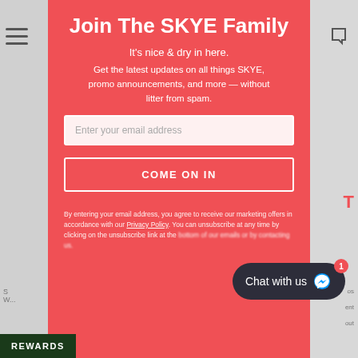Join The SKYE Family
It's nice & dry in here.
Get the latest updates on all things SKYE, promo announcements, and more — without litter from spam.
Enter your email address
COME ON IN
By entering your email address, you agree to receive our marketing offers in accordance with our Privacy Policy. You can unsubscribe at any time by clicking on the unsubscribe link at the...
Chat with us
REWARDS